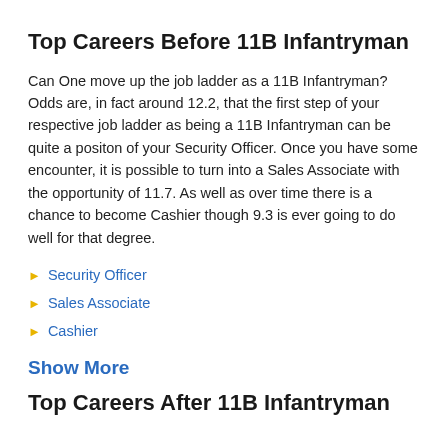Top Careers Before 11B Infantryman
Can One move up the job ladder as a 11B Infantryman? Odds are, in fact around 12.2, that the first step of your respective job ladder as being a 11B Infantryman can be quite a positon of your Security Officer. Once you have some encounter, it is possible to turn into a Sales Associate with the opportunity of 11.7. As well as over time there is a chance to become Cashier though 9.3 is ever going to do well for that degree.
Security Officer
Sales Associate
Cashier
Show More
Top Careers After 11B Infantryman